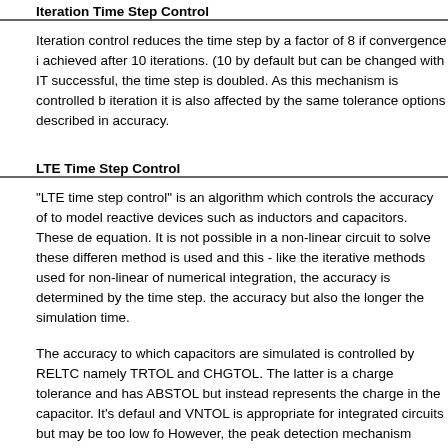Iteration Time Step Control
Iteration control reduces the time step by a factor of 8 if convergence is not achieved after 10 iterations. (10 by default but can be changed with IT...) If successful, the time step is doubled. As this mechanism is controlled by the iteration it is also affected by the same tolerance options described in the accuracy.
LTE Time Step Control
"LTE time step control" is an algorithm which controls the accuracy of the simulation to model reactive devices such as inductors and capacitors. These devices use a differential equation. It is not possible in a non-linear circuit to solve these differential equations directly, so a method is used and this - like the iterative methods used for non-linear components - is a form of numerical integration, the accuracy is determined by the time step. The smaller the time step the accuracy but also the longer the simulation time.
The accuracy to which capacitors are simulated is controlled by RELTOL and two other options, namely TRTOL and CHGTOL. The latter is a charge tolerance and has a similar role to ABSTOL but instead represents the charge in the capacitor. It's default and VNTOL is appropriate for integrated circuits but may be too low for discrete circuits. However, the peak detection mechanism controlled by POINTTOL describes the accuracy and works for the LTE time step control algorithm and it is therefore rarely...